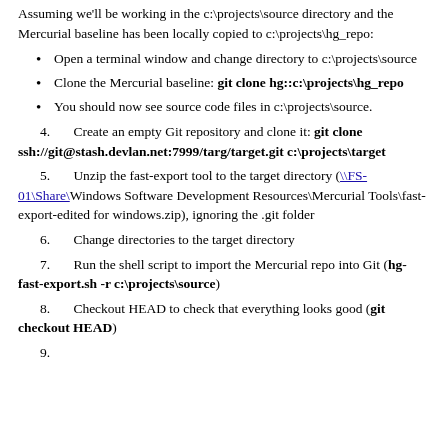Assuming we'll be working in the c:\projects\source directory and the Mercurial baseline has been locally copied to c:\projects\hg_repo:
Open a terminal window and change directory to c:\projects\source
Clone the Mercurial baseline: git clone hg::c:\projects\hg_repo
You should now see source code files in c:\projects\source.
4. Create an empty Git repository and clone it: git clone ssh://git@stash.devlan.net:7999/targ/target.git c:\projects\target
5. Unzip the fast-export tool to the target directory (\\FS-01\Share\Windows Software Development Resources\Mercurial Tools\fast-export-edited for windows.zip), ignoring the .git folder
6. Change directories to the target directory
7. Run the shell script to import the Mercurial repo into Git (hg-fast-export.sh -r c:\projects\source)
8. Checkout HEAD to check that everything looks good (git checkout HEAD)